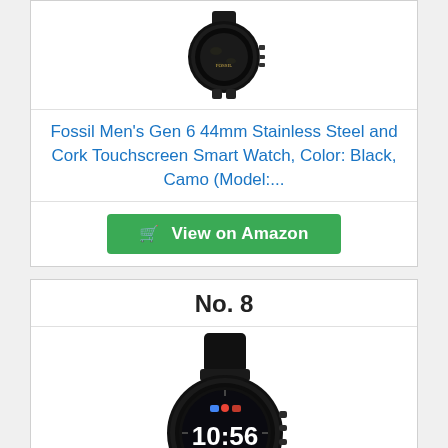[Figure (photo): Black Fossil smartwatch with camo strap, top portion visible]
Fossil Men's Gen 6 44mm Stainless Steel and Cork Touchscreen Smart Watch, Color: Black, Camo (Model:...
View on Amazon
No. 8
[Figure (photo): Black Fossil smartwatch with black silicone strap showing 10:56 on display]